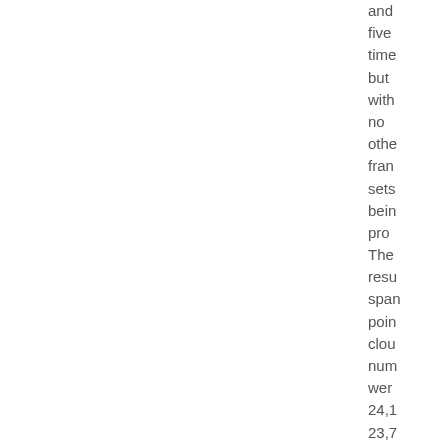and five time but with no other fran sets bein pro The resu span poin clou num wer 24,1 23,7 18,0 23,4 and 11,6